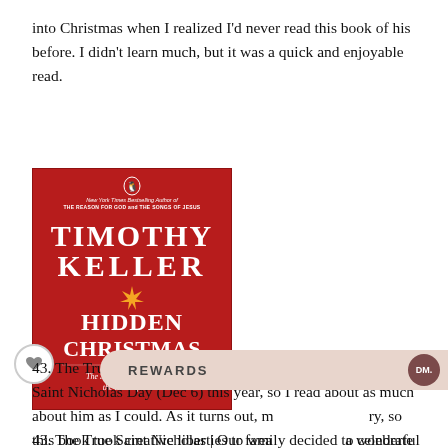into Christmas when I realized I'd never read this book of his before. I didn't learn much, but it was a quick and enjoyable read.
[Figure (photo): Book cover of 'Hidden Christmas: The Surprising Truth Behind the Birth of Christ' by Timothy Keller. Red background with white serif text showing author name and book title, an orange star burst graphic in the center, Penguin Books logo at top, subtitle in italic white text at bottom.]
43. The True Saint Nicholas | Our family decided to celebrate Saint Nicholas Day (Dec 6) this year, so I read about as much about him as I could. As it turns out, much of his history, so this book took creative liberties to weave together a wonderful